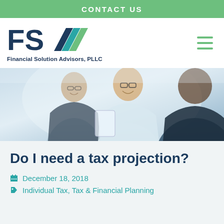CONTACT US
[Figure (logo): FSA Financial Solution Advisors, PLLC logo with teal chevron marks]
[Figure (photo): Three business professionals in a meeting, smiling, two wearing glasses]
Do I need a tax projection?
December 18, 2018
Individual Tax, Tax & Financial Planning